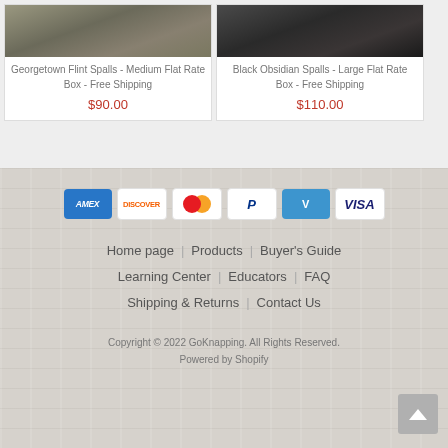[Figure (photo): Product image of Georgetown Flint Spalls rocks]
Georgetown Flint Spalls - Medium Flat Rate Box - Free Shipping
$90.00
[Figure (photo): Product image of Black Obsidian Spalls rocks]
Black Obsidian Spalls - Large Flat Rate Box - Free Shipping
$110.00
[Figure (infographic): Payment method icons: American Express, Discover, Mastercard, PayPal, Venmo, Visa]
Home page | Products | Buyer's Guide | Learning Center | Educators | FAQ | Shipping & Returns | Contact Us
Copyright © 2022 GoKnapping. All Rights Reserved. Powered by Shopify